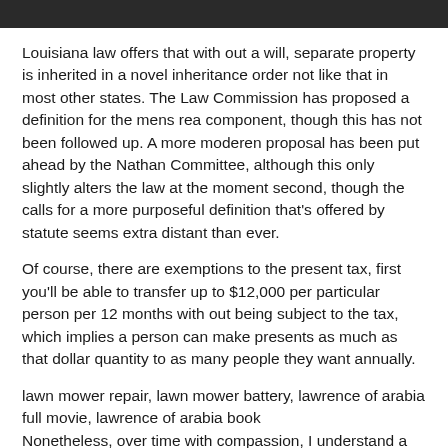[Figure (photo): Top portion of a photo, dark tones, appears to be an outdoor or nature scene cropped at the top of the page]
Louisiana law offers that with out a will, separate property is inherited in a novel inheritance order not like that in most other states. The Law Commission has proposed a definition for the mens rea component, though this has not been followed up. A more moderen proposal has been put ahead by the Nathan Committee, although this only slightly alters the law at the moment second, though the calls for a more purposeful definition that's offered by statute seems extra distant than ever.
Of course, there are exemptions to the present tax, first you'll be able to transfer up to $12,000 per particular person per 12 months with out being subject to the tax, which implies a person can make presents as much as that dollar quantity to as many people they want annually.
lawn mower repair, lawn mower battery, lawrence of arabia full movie, lawrence of arabia book
Nonetheless, over time with compassion, I understand a household with a narcissistic and abusive mother without self